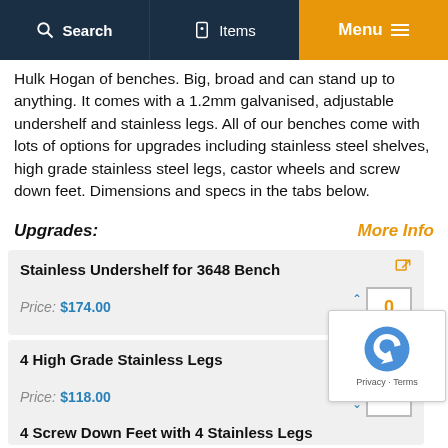Search | Items | Menu
Hulk Hogan of benches. Big, broad and can stand up to anything. It comes with a 1.2mm galvanised, adjustable undershelf and stainless legs. All of our benches come with lots of options for upgrades including stainless steel shelves, high grade stainless steel legs, castor wheels and screw down feet. Dimensions and specs in the tabs below.
Upgrades:
More Info
Stainless Undershelf for 3648 Bench — Price: $174.00
4 High Grade Stainless Legs — Price: $118.00
4 Screw Down Feet with 4 Stainless Legs